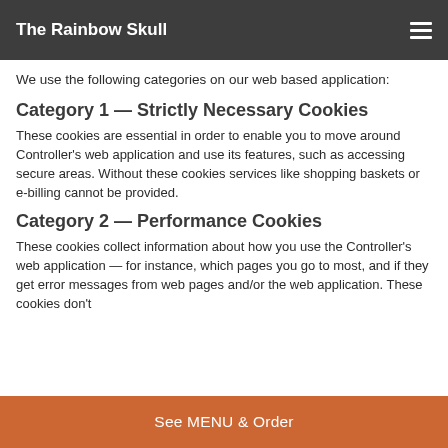The Rainbow Skull
We use the following categories on our web based application:
Category 1 — Strictly Necessary Cookies
These cookies are essential in order to enable you to move around Controller's web application and use its features, such as accessing secure areas. Without these cookies services like shopping baskets or e-billing cannot be provided.
Category 2 — Performance Cookies
These cookies collect information about how you use the Controller's web application — for instance, which pages you go to most, and if they get error messages from web pages and/or the web application. These cookies don't
See MENU & Order